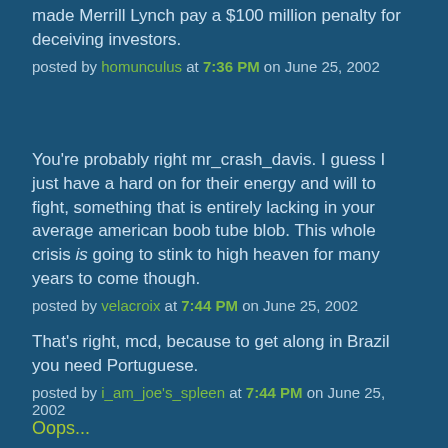made Merrill Lynch pay a $100 million penalty for deceiving investors.
posted by homunculus at 7:36 PM on June 25, 2002
You're probably right mr_crash_davis. I guess I just have a hard on for their energy and will to fight, something that is entirely lacking in your average american boob tube blob. This whole crisis is going to stink to high heaven for many years to come though.
posted by velacroix at 7:44 PM on June 25, 2002
That's right, mcd, because to get along in Brazil you need Portuguese.
posted by i_am_joe's_spleen at 7:44 PM on June 25, 2002
Oops...